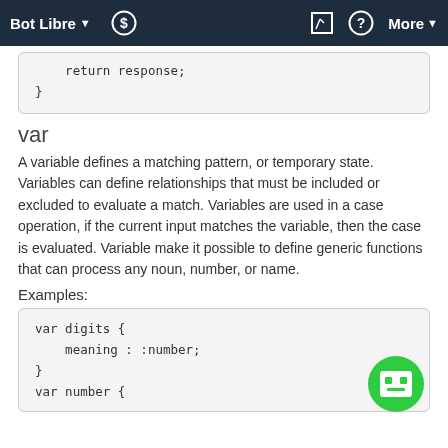Bot Libre  $  More
return response;
}
var
A variable defines a matching pattern, or temporary state. Variables can define relationships that must be included or excluded to evaluate a match. Variables are used in a case operation, if the current input matches the variable, then the case is evaluated. Variable make it possible to define generic functions that can process any noun, number, or name.
Examples:
var digits {
    meaning : :number;
}
var number {